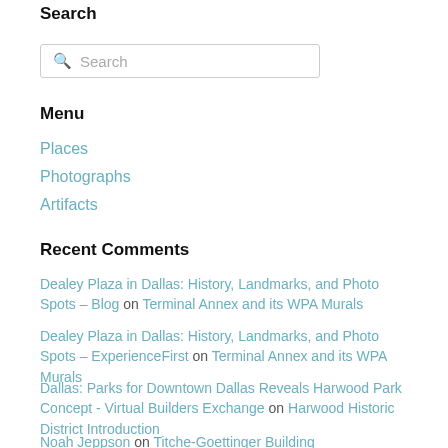Search
Search (search box)
Menu
Places
Photographs
Artifacts
Recent Comments
Dealey Plaza in Dallas: History, Landmarks, and Photo Spots – Blog on Terminal Annex and its WPA Murals
Dealey Plaza in Dallas: History, Landmarks, and Photo Spots – ExperienceFirst on Terminal Annex and its WPA Murals
Dallas: Parks for Downtown Dallas Reveals Harwood Park Concept - Virtual Builders Exchange on Harwood Historic District Introduction
Noah Jeppson on Titche-Goettinger Building